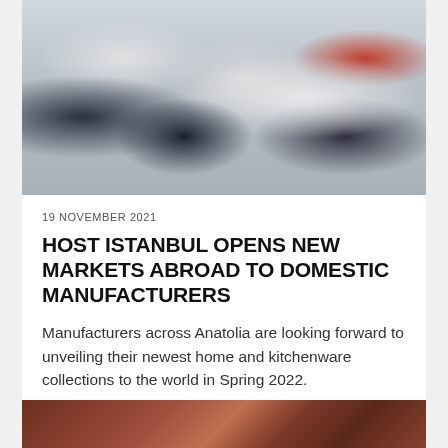[Figure (photo): Crowded trade fair or exhibition hall with many people browsing, blurred faces, booths with products and displays]
19 NOVEMBER 2021
HOST ISTANBUL OPENS NEW MARKETS ABROAD TO DOMESTIC MANUFACTURERS
Manufacturers across Anatolia are looking forward to unveiling their newest home and kitchenware collections to the world in Spring 2022.
[Figure (photo): Partially visible photo at bottom of page, warm reddish-brown tones]